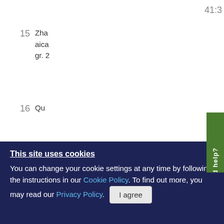41:3
15   Zha... aica... gr. 2...
16   Qu...
17   Qu... QG:... ce a...
[Figure (other): Green 'Need help?' vertical tab button on the right side of the page]
This site uses cookies
You can change your cookie settings at any time by following the instructions in our Cookie Policy. To find out more, you may read our Privacy Policy.
I agree